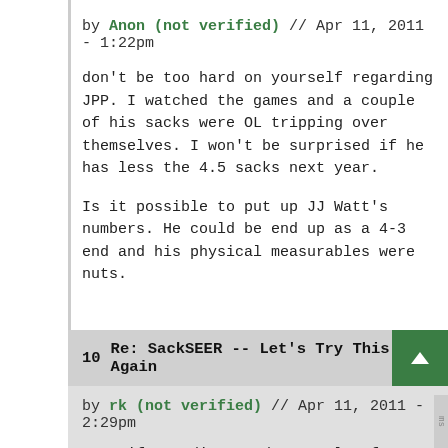by Anon (not verified) // Apr 11, 2011 - 1:22pm
don't be too hard on yourself regarding JPP. I watched the games and a couple of his sacks were OL tripping over themselves. I won't be surprised if he has less the 4.5 sacks next year.
Is it possible to put up JJ Watt's numbers. He could be end up as a 4-3 end and his physical measurables were nuts.
10   Re: SackSEER -- Let's Try This Again
by rk (not verified) // Apr 11, 2011 - 2:29pm
Even if you disregard a couple of sacks, the projection is way off. SackSEER pegged him